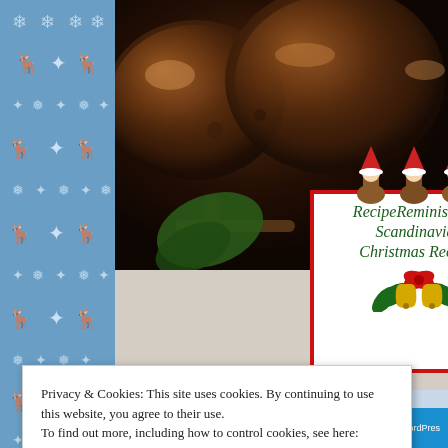[Figure (illustration): Scandinavian folk art knitting pattern border on the left side with blue background featuring reindeer and snowflake motifs in white]
[Figure (photo): Close-up food photo of dark glazed meat/meatballs on a plate with green leaves, dark moody lighting]
[Figure (logo): RecipeReminiscing's Scandinavian Christmas Recipes logo: white box with red border, three gnomes/tomtes on top, italic green script text, Christmas bells decoration at bottom]
Privacy & Cookies: This site uses cookies. By continuing to use this website, you agree to their use.
To find out more, including how to control cookies, see here: Cookie Policy
Close and accept
Simplified pricing for